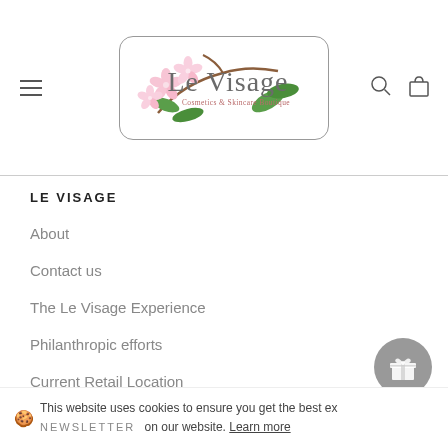[Figure (logo): Le Visage Cosmetics & Skincare Boutique logo with cherry blossom flowers and green leaves inside a rounded rectangle border]
LE VISAGE
About
Contact us
The Le Visage Experience
Philanthropic efforts
Current Retail Location
Privacy Policy
Terms Of Service
Cookie Policy
🍪 This website uses cookies to ensure you get the best experience on our website. Learn more
NEWSLETTER